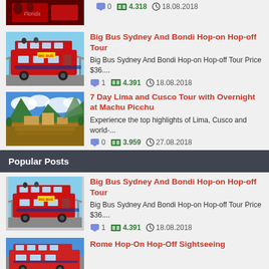[Figure (photo): Partial top image of a red double-decker bus with Florida sign, partially cut off at top]
0  4.318  18.08.2018
[Figure (photo): Red Big Bus double-decker open-top tour bus with Sydney Harbour Bridge in background]
Big Bus Sydney And Bondi Hop-on Hop-off Tour
Big Bus Sydney And Bondi Hop-on Hop-off Tour Price $36....
1  4.391  18.08.2018
[Figure (photo): Aerial view of Machu Picchu ancient ruins with dramatic mountain and cloud backdrop]
7 Day Lima and Cusco Tour with Overnight at Machu Picchu
Experience the top highlights of Lima, Cusco and world-...
0  3.959  27.08.2018
Popular Posts
[Figure (photo): Red Big Bus double-decker open-top tour bus with Sydney Harbour Bridge in background]
Big Bus Sydney And Bondi Hop-on Hop-off Tour
Big Bus Sydney And Bondi Hop-on Hop-off Tour Price $36....
1  4.391  18.08.2018
[Figure (photo): Partial image of Rome city sightseeing bus, bottom cut off]
Rome Hop-On Hop-Off Sightseeing